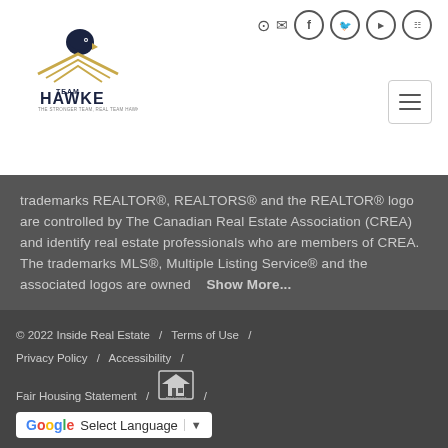[Figure (logo): Team Hawke real estate logo with eagle and gold house roof design]
[Figure (other): Social media and navigation icons: login, email, Facebook, Twitter, YouTube, Instagram, and hamburger menu]
trademarks REALTOR®, REALTORS® and the REALTOR® logo are controlled by The Canadian Real Estate Association (CREA) and identify real estate professionals who are members of CREA. The trademarks MLS®, Multiple Listing Service® and the associated logos are owned   Show More...
© 2022 Inside Real Estate / Terms of Use / Privacy Policy / Accessibility / Fair Housing Statement / [Equal Housing Opportunity logo] / Select Language ▼